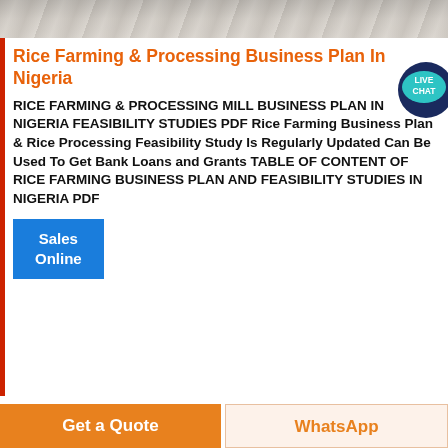[Figure (photo): Grayscale landscape/terrain photo at top of page]
Rice Farming & Processing Business Plan In Nigeria
RICE FARMING & PROCESSING MILL BUSINESS PLAN IN NIGERIA FEASIBILITY STUDIES PDF Rice Farming Business Plan & Rice Processing Feasibility Study Is Regularly Updated Can Be Used To Get Bank Loans and Grants TABLE OF CONTENT OF RICE FARMING BUSINESS PLAN AND FEASIBILITY STUDIES IN NIGERIA PDF
[Figure (illustration): Live Chat speech bubble icon with text LIVE CHAT, top-right corner]
Sales Online
[Figure (photo): Sepia-toned industrial/machinery photo at bottom of page]
Get a Quote
WhatsApp